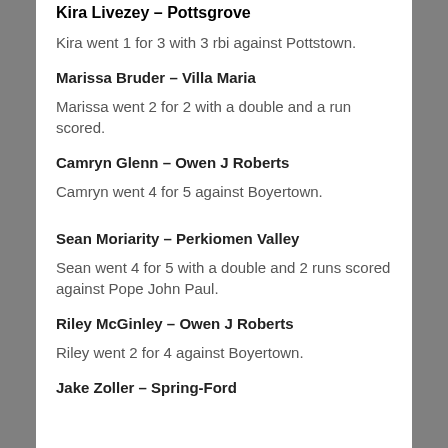Kira Livezey – Pottsgrove
Kira went 1 for 3 with 3 rbi against Pottstown.
Marissa Bruder – Villa Maria
Marissa went 2 for 2 with a double and a run scored.
Camryn Glenn – Owen J Roberts
Camryn went 4 for 5 against Boyertown.
Sean Moriarity – Perkiomen Valley
Sean went 4 for 5 with a double and 2 runs scored against Pope John Paul.
Riley McGinley – Owen J Roberts
Riley went 2 for 4 against Boyertown.
Jake Zoller – Spring-Ford